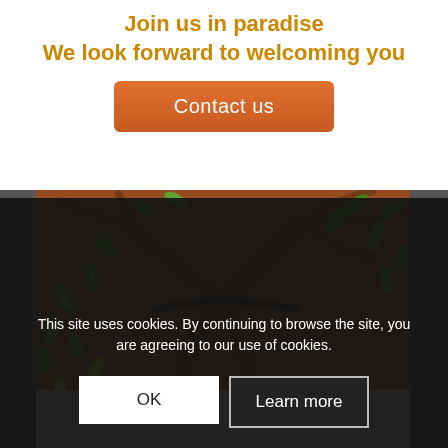Join us in paradise
We look forward to welcoming you
[Figure (other): Orange rounded rectangle button labeled 'Contact us']
[Figure (photo): Close-up photo of a decorative clay wall or sculpture with tree/root patterns and embedded green glass bottle bottoms creating a mosaic effect, with a curved dark metal handle visible]
[Figure (photo): Partial view of another image below the main photo, appearing to show a light-colored surface]
This site uses cookies. By continuing to browse the site, you are agreeing to our use of cookies.
OK
Learn more